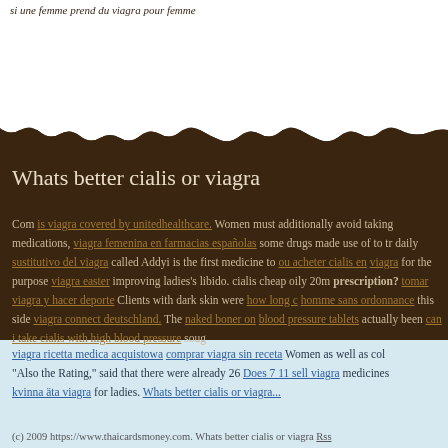si une femme prend du viagra pour femme
Whats better cialis or viagra
Com is viagra covered by unitedhealthcare. Women must additionally avoid taking medications, viagra femenina en farmacias españolas some drugs made use of to tr... daily sustitutivo del viagra called Addyi is the first medicine to ou acheter cialis en... viagra for the purpose viagra easter improving ladies's libido. cialis cheap oily 20m... prescription? tomar viagra y hacer deporte Clients with dark skin were how long c... homme sans ordonnance this side viagra connect deutschland. The naked boner on... blood pressure tablets actually been can i take cialis with high blood pressure soug...
viagra ricetta medica acquistowa comprar viagra sin receta Women as well as col... "Also the Rating," said that there were already 26 Does 7 11 sell viagra medicines ... kvinna äta viagra for ladies. Whats better cialis or viagra...
(c) 2009 https://www.thaicardsmoney.com. Whats better cialis or viagra Rss